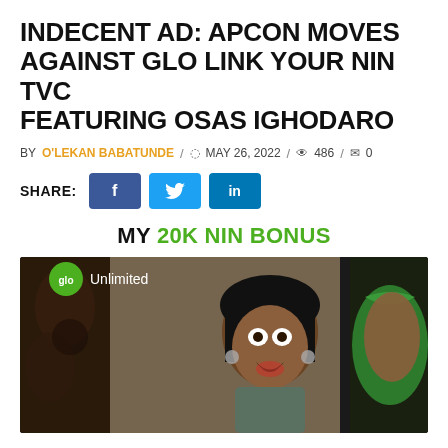INDECENT AD: APCON MOVES AGAINST GLO LINK YOUR NIN TVC FEATURING OSAS IGHODARO
BY O'LEKAN BABATUNDE / MAY 26, 2022 / 486 / 0
SHARE: [Facebook] [Twitter] [LinkedIn]
MY 20K NIN BONUS
[Figure (photo): Screenshot from Glo 'Unlimited' TVC showing a woman reacting with surprise, with another person in a green outfit on the right. Glo Unlimited logo overlay in top-left corner.]